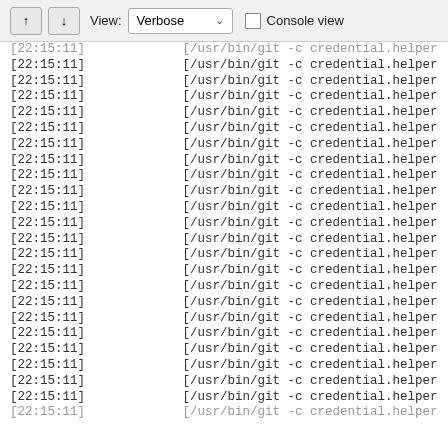[Figure (screenshot): Toolbar with up/down buttons, View label, Verbose dropdown, and Console view checkbox]
[22:15:11]   [/usr/bin/git -c credential.helper (repeated many lines)
Log output lines repeating [22:15:11] timestamps with /usr/bin/git -c credential.helper commands